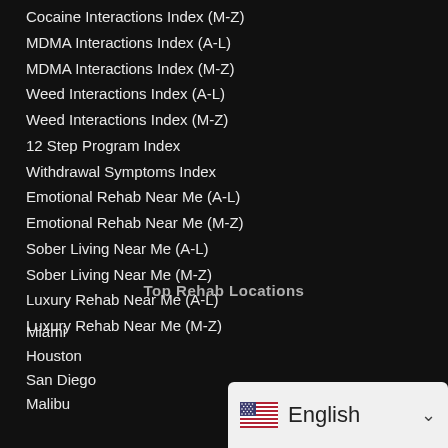Cocaine Interactions Index (M-Z)
MDMA Interactions Index (A-L)
MDMA Interactions Index (M-Z)
Weed Interactions Index (A-L)
Weed Interactions Index (M-Z)
12 Step Program Index
Withdrawal Symptoms Index
Emotional Rehab Near Me (A-L)
Emotional Rehab Near Me (M-Z)
Sober Living Near Me (A-L)
Sober Living Near Me (M-Z)
Luxury Rehab Near Me (A-L)
Luxury Rehab Near Me (M-Z)
Top Rehab Locations
Miami
Houston
San Diego
Malibu